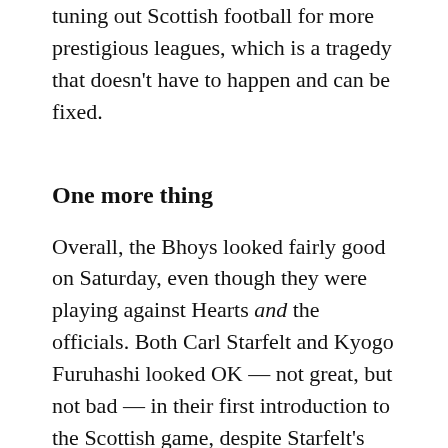tuning out Scottish football for more prestigious leagues, which is a tragedy that doesn't have to happen and can be fixed.
One more thing
Overall, the Bhoys looked fairly good on Saturday, even though they were playing against Hearts and the officials. Both Carl Starfelt and Kyogo Furuhashi looked OK — not great, but not bad — in their first introduction to the Scottish game, despite Starfelt's gaffe that almost resulted in an own goal. Reminds me of another Swede who struggled in his first game as a Celt . . . Henrik something, I think his name was. It'll come to me. Clearly all the